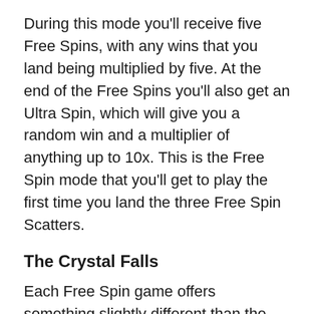During this mode you'll receive five Free Spins, with any wins that you land being multiplied by five. At the end of the Free Spins you'll also get an Ultra Spin, which will give you a random win and a multiplier of anything up to 10x. This is the Free Spin mode that you'll get to play the first time you land the three Free Spin Scatters.
The Crystal Falls
Each Free Spin game offers something slightly different than the one before, with The Crystal Falls promising ten Free Spins. It unlocks once you've hit the Jungle Trail five times, reflected in the fact that you can hit up to five Stacked Wilds on the reels. They will sometimes jump to different reels during the Free Spin game and sometimes disappear altogether.
The Golden Mountain